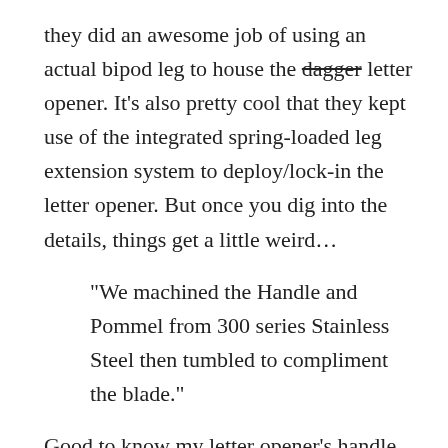they did an awesome job of using an actual bipod leg to house the dagger [strikethrough] letter opener. It's also pretty cool that they kept use of the integrated spring-loaded leg extension system to deploy/lock-in the letter opener. But once you dig into the details, things get a little weird…
“We machined the Handle and Pommel from 300 series Stainless Steel then tumbled to compliment the blade.”
Good to know my letter opener’s handle was
[Figure (photo): Advertisement banner for Travel Guide for Gun Owners with text 'Protect yourself wherever you go.' and US LawShield branding, dark background with orange play button arrows]
’t do. As